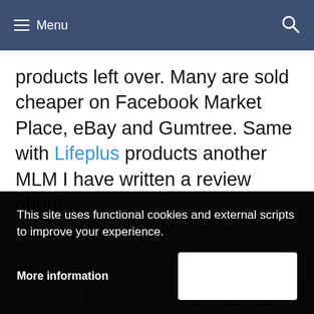≡ Menu
products left over. Many are sold cheaper on Facebook Market Place, eBay and Gumtree. Same with Lifeplus products another MLM I have written a review about.
[Figure (photo): Product image showing Forever branded products and other health/wellness items on a shelf or surface]
This site uses functional cookies and external scripts to improve your experience.
More information